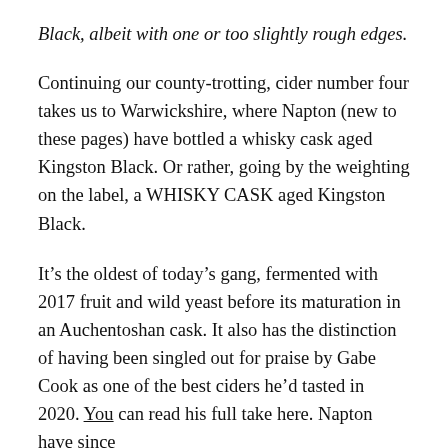Black, albeit with one or too slightly rough edges.
Continuing our county-trotting, cider number four takes us to Warwickshire, where Napton (new to these pages) have bottled a whisky cask aged Kingston Black. Or rather, going by the weighting on the label, a WHISKY CASK aged Kingston Black.
It’s the oldest of today’s gang, fermented with 2017 fruit and wild yeast before its maturation in an Auchentoshan cask. It also has the distinction of having been singled out for praise by Gabe Cook as one of the best ciders he’d tasted in 2020. You can read his full take here. Napton have since